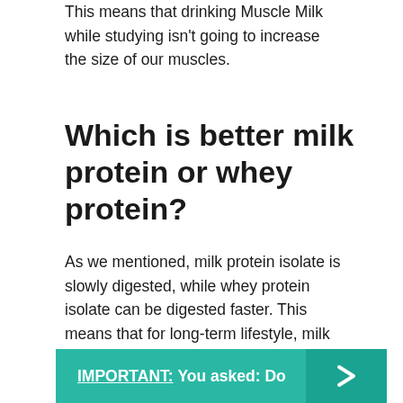This means that drinking Muscle Milk while studying isn't going to increase the size of our muscles.
Which is better milk protein or whey protein?
As we mentioned, milk protein isolate is slowly digested, while whey protein isolate can be digested faster. This means that for long-term lifestyle, milk protein isolate is a better choice. However, if you're on the go and want to chug a protein shake after a workout, whey protein isolate is easier to digest.
IMPORTANT:  You asked: Do